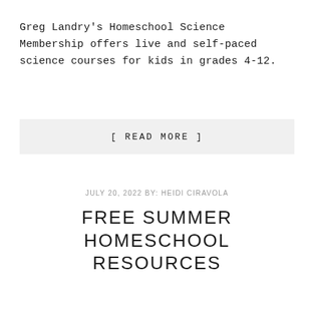Greg Landry's Homeschool Science Membership offers live and self-paced science courses for kids in grades 4-12.
[ READ MORE ]
JULY 20, 2022 BY: HEIDI CIRAVOLA
FREE SUMMER HOMESCHOOL RESOURCES